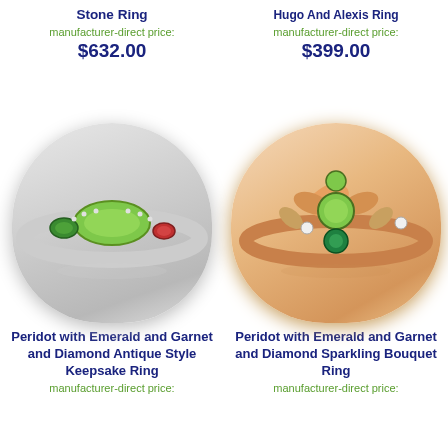Stone Ring
manufacturer-direct price:
$632.00
Hugo And Alexis Ring
manufacturer-direct price:
$399.00
[Figure (photo): Silver ring with green peridot center stone and emerald and garnet side stones in antique milgrain style]
[Figure (photo): Rose gold ring with floral bouquet design featuring peridot, emerald, garnet and diamond stones]
Peridot with Emerald and Garnet and Diamond Antique Style Keepsake Ring
manufacturer-direct price:
Peridot with Emerald and Garnet and Diamond Sparkling Bouquet Ring
manufacturer-direct price: